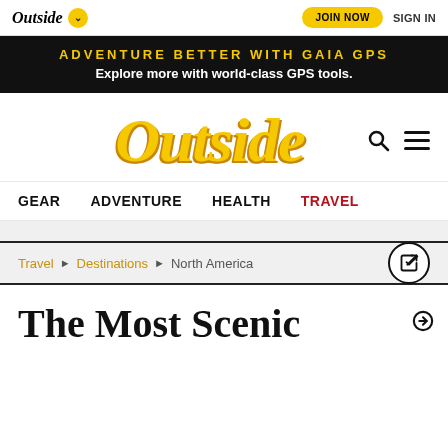Outside | JOIN NOW | SIGN IN
ADVENTURE BETTER WITH GAIA GPS — Explore more with world-class GPS tools.
[Figure (logo): Outside magazine large stylized italic logo in gold/yellow color]
GEAR  ADVENTURE  HEALTH  TRAVEL
Travel > Destinations > North America
The Most Scenic